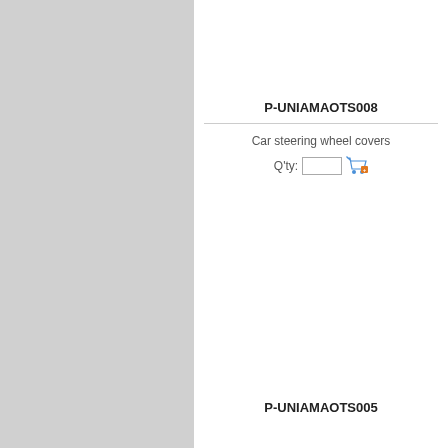[Figure (other): Grey panel on left side of page]
P-UNIAMAOTS008
Car steering wheel covers
Q'ty:
P-UNIAMAOTS005